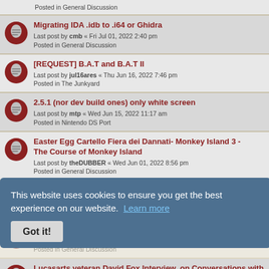Posted in General Discussion
Migrating IDA .idb to .i64 or Ghidra
Last post by cmb « Fri Jul 01, 2022 2:40 pm
Posted in General Discussion
[REQUEST] B.A.T and B.A.T II
Last post by jul16ares « Thu Jun 16, 2022 7:46 pm
Posted in The Junkyard
2.5.1 (nor dev build ones) only white screen
Last post by mtp « Wed Jun 15, 2022 11:17 am
Posted in Nintendo DS Port
Easter Egg Cartello Fiera dei Dannati- Monkey Island 3 - The Course of Monkey Island
Last post by theDUBBER « Wed Jun 01, 2022 8:56 pm
Posted in General Discussion
Suport for Animation Arts games
Last post by WeirdEssential « Wed May 18, 2022 7:13 pm
Posted in The Junkyard
Monkey Island 3 - Fiera Gran sur Blood Island...
Last post by theDUBBER « Wed May 18, 2022 5:08 am
Posted in General Discussion
Lucasarts veteran David Fox Interview, on Conversations with Curtis.
Last post by jakejake... « Tue May 17, 2022 4:58 pm
Posted in General Discussion
Latest NDS build issues
Last post by pen2paper « Sat May 14, 2022 11:52 am
This website uses cookies to ensure you get the best experience on our website. Learn more
Got it!